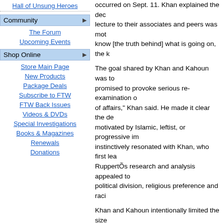Hall of Unsung Heroes
Community
The Forum
Upcoming Events
Shop Online
Store Main Page
New Products
Package Deals
Subscribe to FTW
FTW Back Issues
Videos & DVDs
Special Investigations
Books & Magazines
Renewals
Donations
occurred on Sept. 11. Khan explained the dec... lecture to their associates and peers was mot... know [the truth behind] what is going on, the k...
The goal shared by Khan and Kahoun was to... promised to provoke serious re-examination o... of affairs," Khan said. He made it clear the de... motivated by Islamic, leftist, or progressive im... instinctively resonated with Khan, who first lea... RuppertÕs research and analysis appealed to... political division, religious preference and raci...
Khan and Kahoun intentionally limited the siz... private event as a litmus test designed to gau... their friends and peers. Khan and Kahoun hop... generate the capital and support necessary to... Ruppert will be invited to deliver his lecture to... "The best way to facilitate the truth is to help p... worthwhile]. Mike Ruppert has done all the leg... worthwhile enterprise through funding is the e...
The Long Island audience responded positive... many wanted to know when and where he wo... Kohlman, who presently serves as a legal con... witnessed the positive response to the lecture... returning to New York before long.
In 1999, Kohlman and his law partner, Dr. Wil... of the Bay Martin by the King Asian about it...